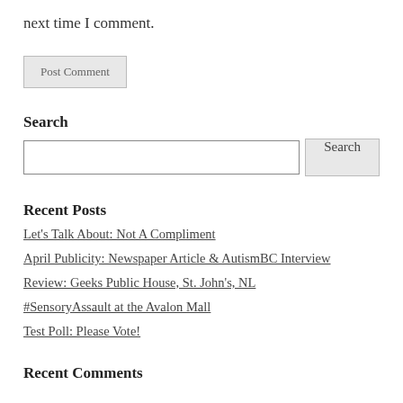next time I comment.
Post Comment
Search
Recent Posts
Let's Talk About: Not A Compliment
April Publicity: Newspaper Article & AutismBC Interview
Review: Geeks Public House, St. John's, NL
#SensoryAssault at the Avalon Mall
Test Poll: Please Vote!
Recent Comments